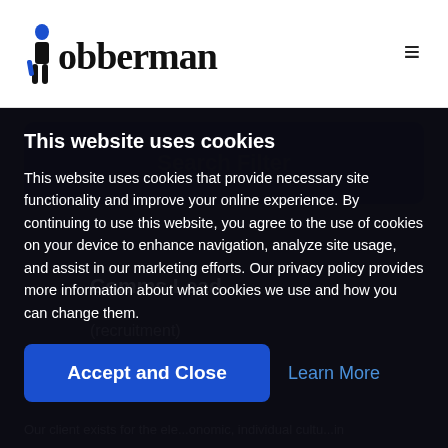Jobberman
Search Filter
Comms Lead
(recruitment)
This website uses cookies
This website uses cookies that provide necessary site functionality and improve your online experience. By continuing to use this website, you agree to the use of cookies on your device to enhance navigation, analyze site usage, and assist in our marketing efforts. Our privacy policy provides more information about what cookies we use and how you can change them.
Accept and Close
Learn More
Our client exists for the ele...onomic, individualcultu...in